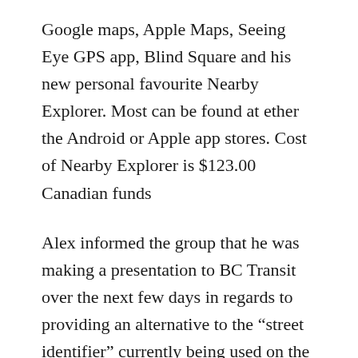Google maps, Apple Maps, Seeing Eye GPS app, Blind Square and his new personal favourite Nearby Explorer. Most can be found at ether the Android or Apple app stores. Cost of Nearby Explorer is $123.00 Canadian funds
Alex informed the group that he was making a presentation to BC Transit over the next few days in regards to providing an alternative to the “street identifier” currently being used on the Victoria Public Transit System. The project is called StopsPro. Alex suggested that his new system would call stops, identify buses and could be modified to accommodate a visual display. He let the group hear some audio samplings of a voice used in the testing process. Alex will keep the group informed of this...